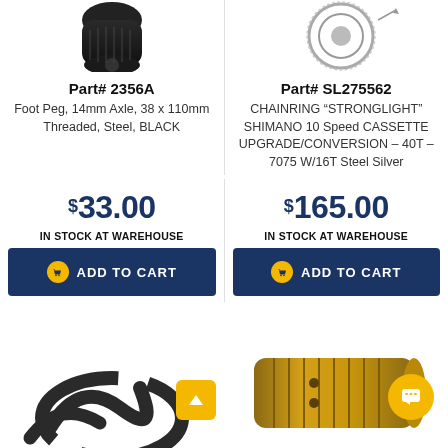[Figure (photo): Partial view of a black foot peg product (cropped, top portion visible)]
[Figure (photo): Partial view of a chainring/sprocket product (cropped, top portion visible)]
Part# 2356A
Part# SL275562
Foot Peg, 14mm Axle, 38 x 110mm Threaded, Steel, BLACK
CHAINRING “STRONGLIGHT” SHIMANO 10 Speed CASSETTE UPGRADE/CONVERSION – 40T – 7075 W/16T Steel Silver
$33.00
$165.00
IN STOCK AT WAREHOUSE
IN STOCK AT WAREHOUSE
ADD TO CART
ADD TO CART
[Figure (photo): Black cable/tube coiled, lower product image]
[Figure (photo): Gold/brass cylindrical part, lower product image]